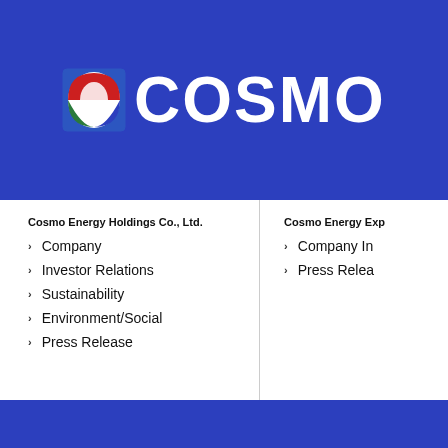[Figure (logo): Cosmo Energy logo with oval icon (red, white, green) and white bold text 'COSMO' on blue background]
Cosmo Energy Holdings Co., Ltd.
Company
Investor Relations
Sustainability
Environment/Social
Press Release
Cosmo Energy Exp
Company In
Press Relea